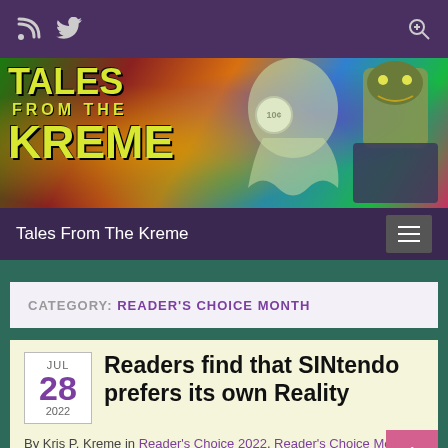Top navigation bar with RSS and Twitter icons
[Figure (illustration): Tales From The Kreme banner with colorful psychedelic background, ghost figure, and zombie/monster character. '10c' price badge visible.]
Tales From The Kreme
CATEGORY: READER'S CHOICE MONTH
Readers find that SINtendo prefers its own Reality
By Kris P. Kreme in Reader's Choice 2022, Reader's Choice Month, Readers' Choice Stories, SINtendo, Tales from the Kreme